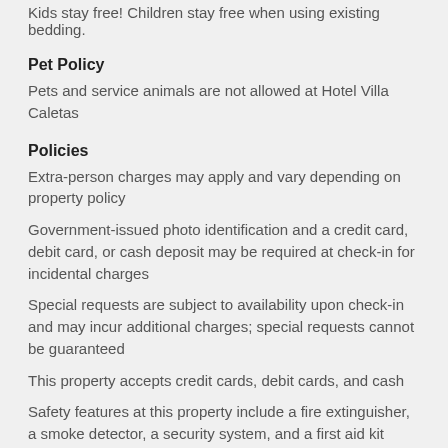Kids stay free! Children stay free when using existing bedding.
Pet Policy
Pets and service animals are not allowed at Hotel Villa Caletas
Policies
Extra-person charges may apply and vary depending on property policy
Government-issued photo identification and a credit card, debit card, or cash deposit may be required at check-in for incidental charges
Special requests are subject to availability upon check-in and may incur additional charges; special requests cannot be guaranteed
This property accepts credit cards, debit cards, and cash
Safety features at this property include a fire extinguisher, a smoke detector, a security system, and a first aid kit
Be prepared: check the latest COVID-19 travel requirements and measures in place for this destination before you travel.
Please note that cultural norms and guest policies may differ by country and by property; the policies listed are provided by the property
Charges for extra guests may apply and vary according to property policy.